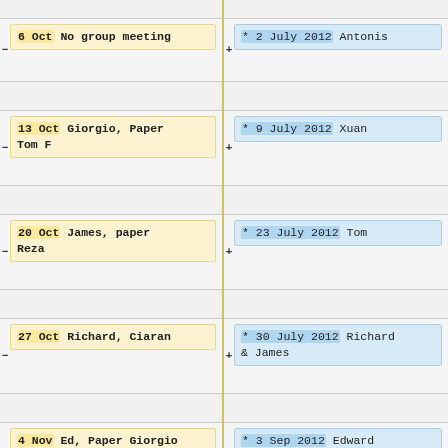6 Oct No group meeting
* 2 July 2012 Antonis
13 Oct Giorgio, Paper Tom F
* 9 July 2012 Xuan
20 Oct James, paper Reza
* 23 July 2012 Tom
27 Oct Richard, Ciaran
* 30 July 2012 Richard & James
4 Nov Ed, Paper Giorgio
* 3 Sep 2012 Edward
17 Nov Ciaran, Paper
* 10 Sep 2012 (possibly